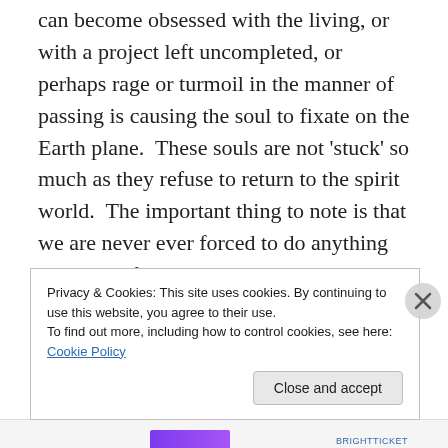can become obsessed with the living, or with a project left uncompleted, or perhaps rage or turmoil in the manner of passing is causing the soul to fixate on the Earth plane.  These souls are not 'stuck' so much as they refuse to return to the spirit world.  The important thing to note is that we are never ever forced to do anything as souls.  If we wish to stay on the Earth plane, or stay in a self-imposed exile for a length of time, we given the latitude to do so.  We are always the masters of our own energy.  However, Redeemers of Lost Souls are those guides who will attempt to make contact and council the soul.  If the
Privacy & Cookies: This site uses cookies. By continuing to use this website, you agree to their use.
To find out more, including how to control cookies, see here: Cookie Policy
Close and accept